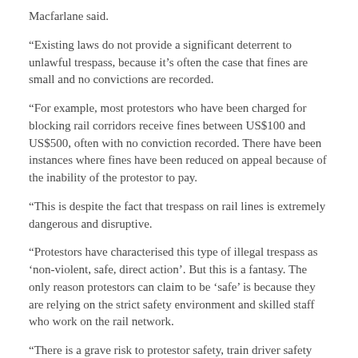Macfarlane said.
“Existing laws do not provide a significant deterrent to unlawful trespass, because it’s often the case that fines are small and no convictions are recorded.
“For example, most protestors who have been charged for blocking rail corridors receive fines between US$100 and US$500, often with no conviction recorded. There have been instances where fines have been reduced on appeal because of the inability of the protestor to pay.
“This is despite the fact that trespass on rail lines is extremely dangerous and disruptive.
“Protestors have characterised this type of illegal trespass as ‘non-violent, safe, direct action’. But this is a fantasy. The only reason protestors can claim to be ‘safe’ is because they are relying on the strict safety environment and skilled staff who work on the rail network.
“There is a grave risk to protestor safety, train driver safety and community safety from this type of reckless action. The current laws are no longer fit for purpose and are in urgent need of reform.
“QRC respects people’s right to protest peacefully. In fact, lawful